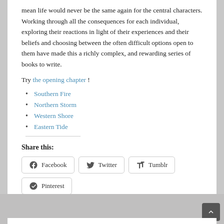mean life would never be the same again for the central characters. Working through all the consequences for each individual, exploring their reactions in light of their experiences and their beliefs and choosing between the often difficult options open to them have made this a richly complex, and rewarding series of books to write.
Try the opening chapter !
Southern Fire
Northern Storm
Western Shore
Eastern Tide
Share this:
Facebook  Twitter  Tumblr  Pinterest